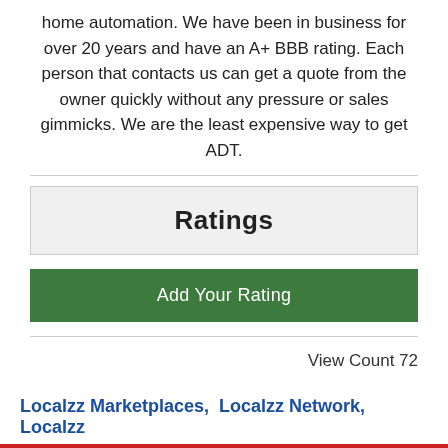home automation. We have been in business for over 20 years and have an A+ BBB rating. Each person that contacts us can get a quote from the owner quickly without any pressure or sales gimmicks. We are the least expensive way to get ADT.
Ratings
Add Your Rating
View Count 72
Localzz Marketplaces,  Localzz Network, Localzz